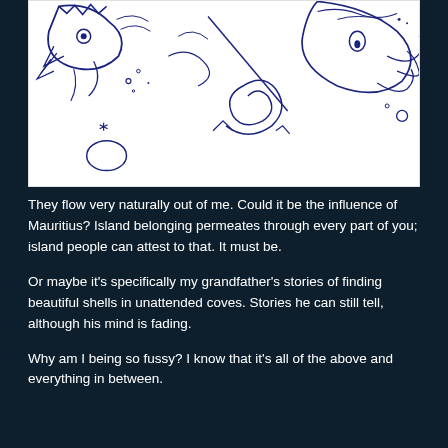[Figure (illustration): A pen/ink line drawing on white background showing abstract fish or sea creature forms with spiral, wavy, and flowing lines drawn in dark navy/indigo ink. The drawing features fish-like heads with eyes, fins, tentacle-like appendages, bubbles, and spiral shell elements.]
They flow very naturally out of me. Could it be the influence of Mauritius? Island belonging permeates through every part of you; island people can attest to that. It must be.
Or maybe it's specifically my grandfather's stories of finding beautiful shells in unattended coves. Stories he can still tell, although his mind is fading.
Why am I being so fussy? I know that it's all of the above and everything in between.